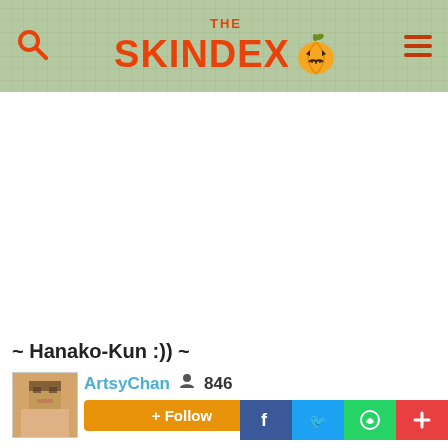THE SKINDEX
[Figure (screenshot): Large white area showing a Minecraft skin preview (blank/loading white space)]
~ Hanako-Kun :)) ~
ArtsyChan  846
+ Follow
Social share buttons: Facebook, Twitter, WhatsApp, Add